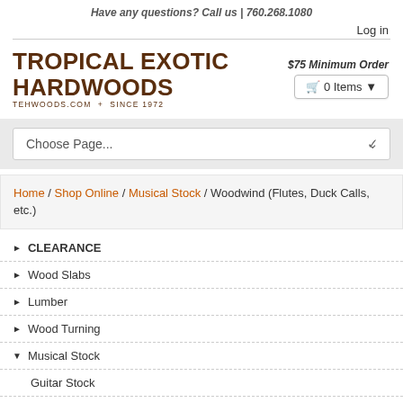Have any questions? Call us | 760.268.1080
Log in
[Figure (logo): Tropical Exotic Hardwoods logo — TEHWOODS.COM + SINCE 1972]
$75 Minimum Order
🛒 0 Items ▼
Choose Page...
Home / Shop Online / Musical Stock / Woodwind (Flutes, Duck Calls, etc.)
▶ CLEARANCE
▶ Wood Slabs
▶ Lumber
▶ Wood Turning
▼ Musical Stock
Guitar Stock
Musical-Grade Billets/Lumber